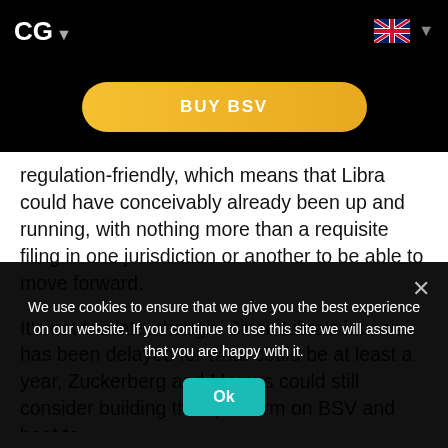CG ▾
[Figure (screenshot): BUY BSV button — gold/yellow pill-shaped button on black background]
regulation-friendly, which means that Libra could have conceivably already been up and running, with nothing more than a requisite filing in one jurisdiction or another to be able to move forward.
It's not too late, though. Since Libra's launch has been delayed for what could be at least a year, Zuckerberg and Marcus could still consider building their platform on BSV and beat to
We use cookies to ensure that we give you the best experience on our website. If you continue to use this site we will assume that you are happy with it.